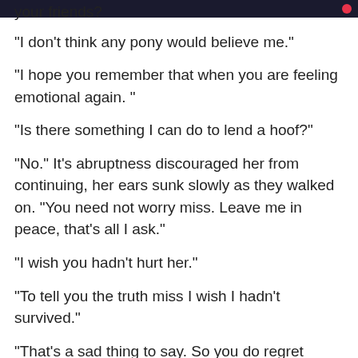your friends?
“I don't think any pony would believe me.”
“I hope you remember that when you are feeling emotional again.”
“Is there something I can do to lend a hoof?”
“No.” It's abruptness discouraged her from continuing, her ears sunk slowly as they walked on. “You need not worry miss. Leave me in peace, that’s all I ask.”
“I wish you hadn't hurt her.”
“To tell you the truth miss I wish I hadn't survived.”
“That’s a sad thing to say. So you do regret hurting her…”